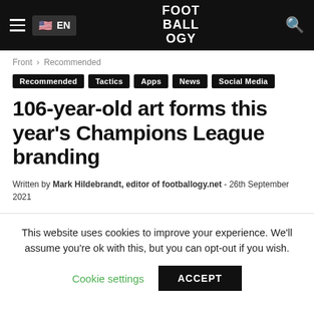FOOT BALL OGY — EN — menu — search
Front › Recommended
Recommended
Tactics
Apps
News
Social Media
106-year-old art forms this year's Champions League branding
Written by Mark Hildebrandt, editor of footballogy.net - 26th September 2021
This website uses cookies to improve your experience. We'll assume you're ok with this, but you can opt-out if you wish. Cookie settings ACCEPT